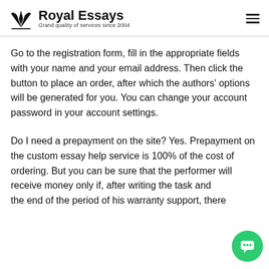Royal Essays — Grand quality of services since 2004
Go to the registration form, fill in the appropriate fields with your name and your email address. Then click the button to place an order, after which the authors' options will be generated for you. You can change your account password in your account settings.
Do I need a prepayment on the site? Yes. Prepayment on the custom essay help service is 100% of the cost of ordering. But you can be sure that the performer will receive money only if, after writing the task and the end of the period of his warranty support, there